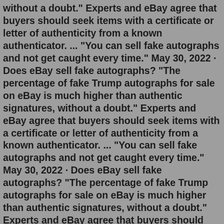without a doubt." Experts and eBay agree that buyers should seek items with a certificate or letter of authenticity from a known authenticator. ... "You can sell fake autographs and not get caught every time." May 30, 2022 · Does eBay sell fake autographs? "The percentage of fake Trump autographs for sale on eBay is much higher than authentic signatures, without a doubt." Experts and eBay agree that buyers should seek items with a certificate or letter of authenticity from a known authenticator. ... "You can sell fake autographs and not get caught every time." May 30, 2022 · Does eBay sell fake autographs? "The percentage of fake Trump autographs for sale on eBay is much higher than authentic signatures, without a doubt." Experts and eBay agree that buyers should seek items with a certificate or letter of authenticity from a known authenticator. ... "You can sell fake autographs and not get caught every time." Mainichi Shinbun recently published the story of a man who used his (admittedly good) drawing skills in